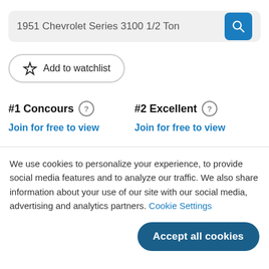1951 Chevrolet Series 3100 1/2 Ton
Add to watchlist
#1 Concours
Join for free to view
#2 Excellent
Join for free to view
We use cookies to personalize your experience, to provide social media features and to analyze our traffic. We also share information about your use of our site with our social media, advertising and analytics partners. Cookie Settings
Accept all cookies